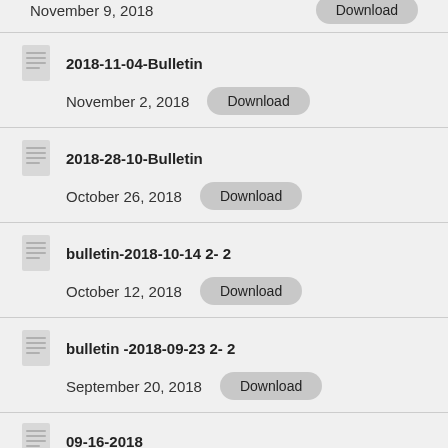November 9, 2018 | Download
2018-11-04-Bulletin | November 2, 2018 | Download
2018-28-10-Bulletin | October 26, 2018 | Download
bulletin-2018-10-14 2- 2 | October 12, 2018 | Download
bulletin -2018-09-23 2- 2 | September 20, 2018 | Download
09-16-2018